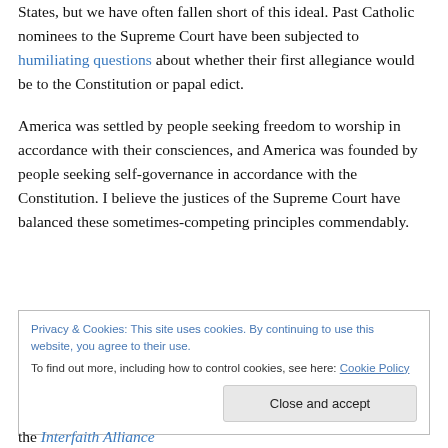States, but we have often fallen short of this ideal. Past Catholic nominees to the Supreme Court have been subjected to humiliating questions about whether their first allegiance would be to the Constitution or papal edict.
America was settled by people seeking freedom to worship in accordance with their consciences, and America was founded by people seeking self-governance in accordance with the Constitution. I believe the justices of the Supreme Court have balanced these sometimes-competing principles commendably.
Privacy & Cookies: This site uses cookies. By continuing to use this website, you agree to their use.
To find out more, including how to control cookies, see here: Cookie Policy
Close and accept
the Interfaith Alliance